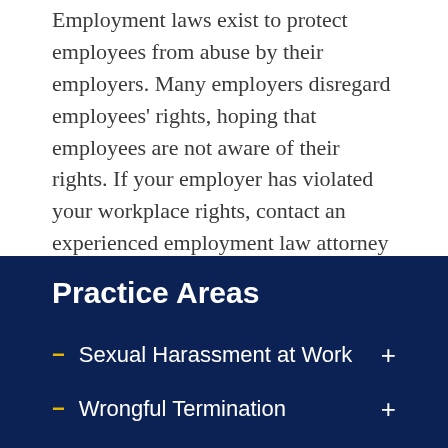Employment laws exist to protect employees from abuse by their employers. Many employers disregard employees' rights, hoping that employees are not aware of their rights. If your employer has violated your workplace rights, contact an experienced employment law attorney who can discuss your situation with you and advise you of your options.
Practice Areas
Sexual Harassment at Work
Wrongful Termination